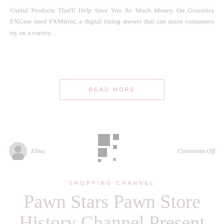Useful Products That'll Help Save You So Much Money On Groceries FXGear used FXMirror, a digital fitting answer that can assist consumers try on a variety...
READ MORE
Elma
[Figure (logo): Pixel/grid style logo icon made of small squares in a scattered pattern]
Comments Off
SHOPPING CHANNEL
Pawn Stars Pawn Store History Channel Present
The 2 satellite TELEVISION service suppliers Dis